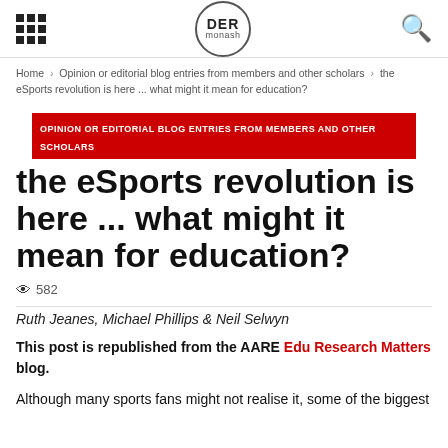DER monash
Home › Opinion or editorial blog entries from members and other scholars › the eSports revolution is here ... what might it mean for education?
OPINION OR EDITORIAL BLOG ENTRIES FROM MEMBERS AND OTHER SCHOLARS
the eSports revolution is here ... what might it mean for education?
582
Ruth Jeanes, Michael Phillips & Neil Selwyn
This post is republished from the AARE Edu Research Matters blog.
Although many sports fans might not realise it, some of the biggest